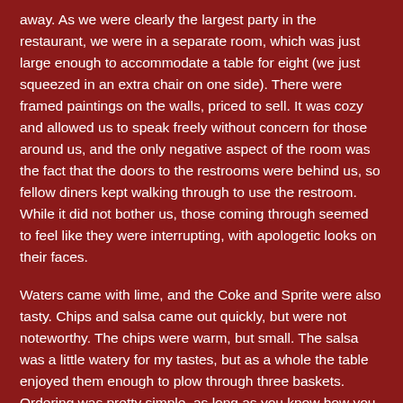away. As we were clearly the largest party in the restaurant, we were in a separate room, which was just large enough to accommodate a table for eight (we just squeezed in an extra chair on one side). There were framed paintings on the walls, priced to sell. It was cozy and allowed us to speak freely without concern for those around us, and the only negative aspect of the room was the fact that the doors to the restrooms were behind us, so fellow diners kept walking through to use the restroom. While it did not bother us, those coming through seemed to feel like they were interrupting, with apologetic looks on their faces.
Waters came with lime, and the Coke and Sprite were also tasty. Chips and salsa came out quickly, but were not noteworthy. The chips were warm, but small. The salsa was a little watery for my tastes, but as a whole the table enjoyed them enough to plow through three baskets. Ordering was pretty simple, as long as you know how you like your Mexican cuisine. While the menu itself is fairly large (and includes tortas, a Mexican sandwich that is most delicious in cities like San Diego, in my opinion), the lunch special is pretty straightforward. The first five entrees are available with a soft drink for $8.99 (+tax). Each was ordered by someone at the table (with one person choosing a regular entree), but Enchiladas were my pick. "3 lightly friend corn tortillas filled with chicken breast and covered with green tomatillo Salsa or tomato Salsa, topped